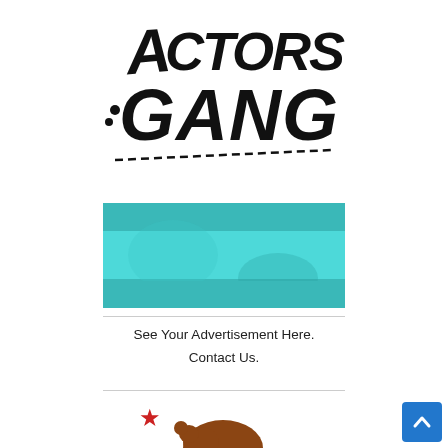[Figure (logo): Actors Gang hand-drawn logo with stylized graffiti-style text reading ACTORS GANG with a dashed underline]
[Figure (illustration): Teal/cyan colored advertisement banner placeholder with gradient bands of lighter and darker teal]
See Your Advertisement Here.
Contact Us.
[Figure (illustration): Partial California state flag showing a red star and brown bear silhouette at the bottom of the page]
[Figure (other): Blue scroll-to-top button with upward chevron arrow in bottom right corner]